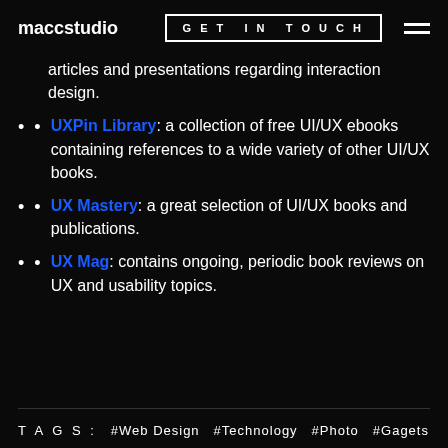maccstudio   GET IN TOUCH
articles and presentations regarding interaction design.
UXPin Library: a collection of free UI/UX ebooks containing references to a wide variety of other UI/UX books.
UX Mastery: a great selection of UI/UX books and publications.
UX Mag: contains ongoing, periodic book reviews on UX and usability topics.
TAGS:  #Web Design  #Technology  #Photo  #Gagets